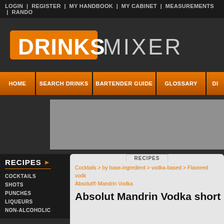LOGIN | REGISTER | MY HANDBOOK | MY CABINET | MEASUREMENTS | RANDO
[Figure (logo): Drinks Mixer logo with orange DRINKS box and grey MIXER text]
HOME | SEARCH DRINKS | BARTENDER GUIDE | GLOSSARY | D
[Figure (other): Grey advertisement banner placeholder]
RECIPES
COCKTAILS
SHOTS
PUNCHES
LIQUEURS
NON-ALCOHOLIC
RECIPES
Cocktails > by base-ingredient > vodka-based > Flavored vodk Absolut® Mandrin Vodka
Absolut Mandrin Vodka short
1/1